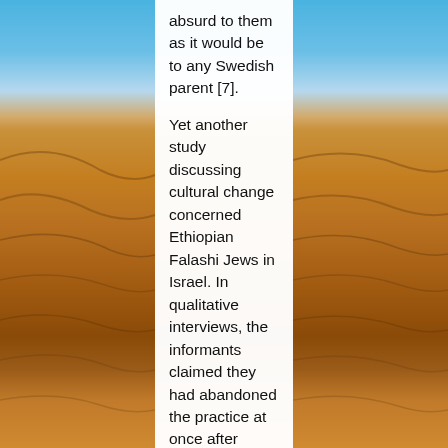absurd to them as it would be to any Swedish parent [7].

Yet another study discussing cultural change concerned Ethiopian Falashi Jews in Israel. In qualitative interviews, the informants claimed they had abandoned the practice at once after migration to Israel, and the researchers could not see any signs of distress or nostalgia. The study was followed up by genital examinations, including 113 fertile women, and these examinations confirmed abandonment of female circumcision [46,56]. In a study from